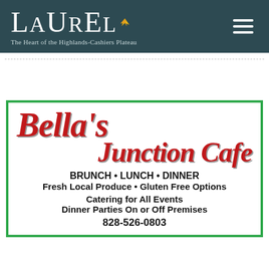LAUREL – The Heart of the Highlands-Cashiers Plateau
[Figure (logo): Bella's Junction Cafe advertisement with script logo text in red, meal services listed, and phone number 828-526-0803]